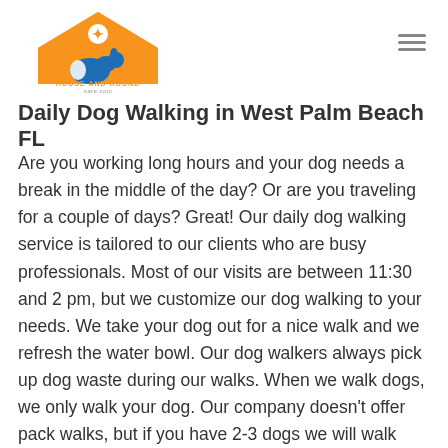House and Hound Care
Daily Dog Walking in West Palm Beach FL
Are you working long hours and your dog needs a break in the middle of the day? Or are you traveling for a couple of days? Great! Our daily dog walking service is tailored to our clients who are busy professionals. Most of our visits are between 11:30 and 2 pm, but we customize our dog walking to your needs. We take your dog out for a nice walk and we refresh the water bowl. Our dog walkers always pick up dog waste during our walks. When we walk dogs, we only walk your dog. Our company doesn't offer pack walks, but if you have 2-3 dogs we will walk them all during our